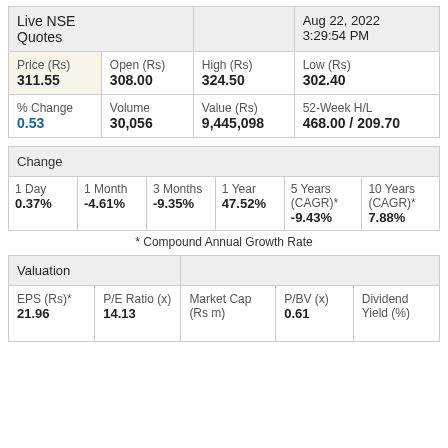| Live NSE Quotes |  |  | Aug 22, 2022 3:29:54 PM |
| --- | --- | --- | --- |
| Price (Rs)
311.55 | Open (Rs)
308.00 | High (Rs)
324.50 | Low (Rs)
302.40 |
| % Change
0.53 | Volume
30,056 | Value (Rs)
9,445,098 | 52-Week H/L
468.00 / 209.70 |
| Change |
| --- |
| 1 Day
0.37% | 1 Month
-4.61% | 3 Months
-9.35% | 1 Year
47.52% | 5 Years (CAGR)*
-9.43% | 10 Years (CAGR)*
7.88% |
* Compound Annual Growth Rate
| Valuation |
| --- |
| EPS (Rs)*
21.96 | P/E Ratio (x)
14.13 | Market Cap (Rs m) | P/BV (x)
0.61 | Dividend Yield (%) |